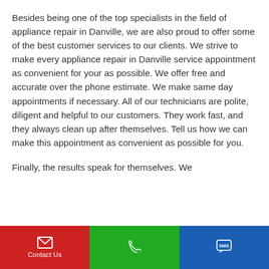Besides being one of the top specialists in the field of appliance repair in Danville, we are also proud to offer some of the best customer services to our clients. We strive to make every appliance repair in Danville service appointment as convenient for your as possible. We offer free and accurate over the phone estimate. We make same day appointments if necessary. All of our technicians are polite, diligent and helpful to our customers. They work fast, and they always clean up after themselves. Tell us how we can make this appointment as convenient as possible for you.
Finally, the results speak for themselves. We
Contact Us | [phone icon] | SMS